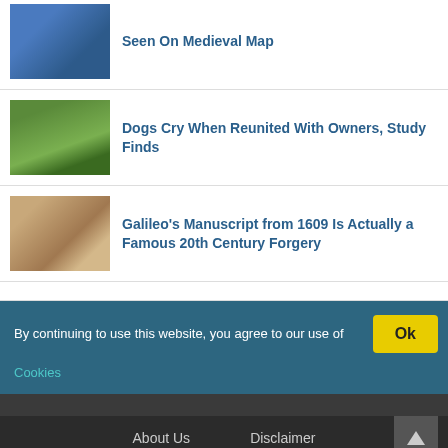Seen On Medieval Map
Dogs Cry When Reunited With Owners, Study Finds
Galileo's Manuscript from 1609 Is Actually a Famous 20th Century Forgery
By continuing to use this website, you agree to our use of Cookies
About Us   Disclaimer